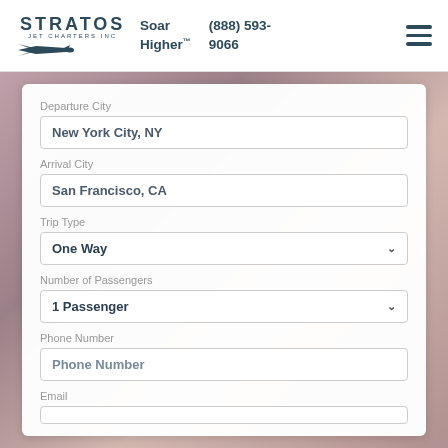STRATOS JET CHARTERS INC — Soar Higher™ — (888) 593-9066
Departure City
New York City, NY
Arrival City
San Francisco, CA
Trip Type
One Way
Number of Passengers
1 Passenger
Phone Number
Phone Number
Email